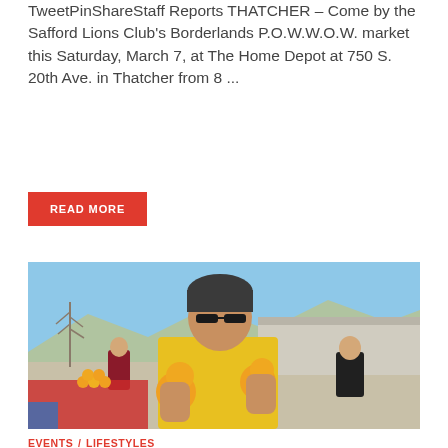TweetPinShareStaff Reports THATCHER – Come by the Safford Lions Club's Borderlands P.O.W.W.O.W. market this Saturday, March 7, at The Home Depot at 750 S. 20th Ave. in Thatcher from 8 ...
READ MORE
[Figure (photo): A man wearing a dark knit beanie hat and sunglasses, dressed in a yellow t-shirt, holds two oranges/citrus fruits up toward the camera while standing outdoors at what appears to be an outdoor market. Mountains and blue sky visible in background. Other people visible in background.]
EVENTS / LIFESTYLES